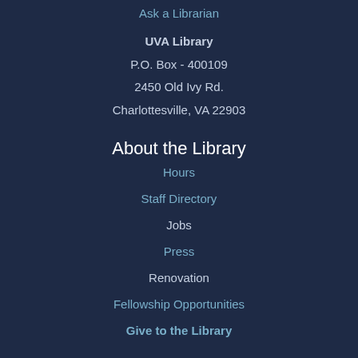Ask a Librarian
UVA Library
P.O. Box - 400109
2450 Old Ivy Rd.
Charlottesville, VA 22903
About the Library
Hours
Staff Directory
Jobs
Press
Renovation
Fellowship Opportunities
Give to the Library
Help & Assistance
FAQs